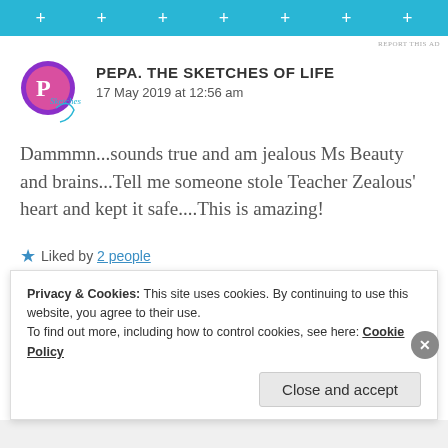[Figure (other): Cyan/teal advertisement banner with plus signs at top of page]
REPORT THIS AD
[Figure (logo): Circular purple and pink logo for Pepa The Sketches of Life blog]
PEPA. THE SKETCHES OF LIFE
17 May 2019 at 12:56 am
Dammmn...sounds true and am jealous Ms Beauty and brains...Tell me someone stole Teacher Zealous' heart and kept it safe....This is amazing!
Liked by 2 people
REPLY
Privacy & Cookies: This site uses cookies. By continuing to use this website, you agree to their use.
To find out more, including how to control cookies, see here: Cookie Policy
Close and accept